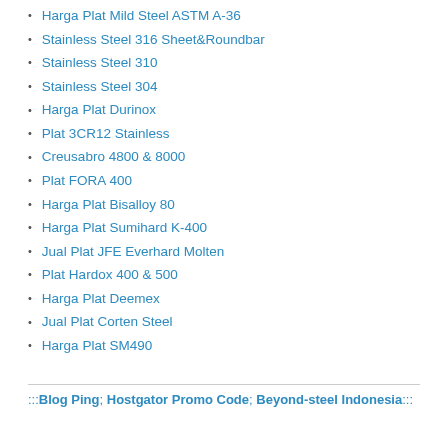Harga Plat Mild Steel ASTM A-36
Stainless Steel 316 Sheet&Roundbar
Stainless Steel 310
Stainless Steel 304
Harga Plat Durinox
Plat 3CR12 Stainless
Creusabro 4800 & 8000
Plat FORA 400
Harga Plat Bisalloy 80
Harga Plat Sumihard K-400
Jual Plat JFE Everhard Molten
Plat Hardox 400 & 500
Harga Plat Deemex
Jual Plat Corten Steel
Harga Plat SM490
:::Blog Ping; Hostgator Promo Code; Beyond-steel Indonesia:::